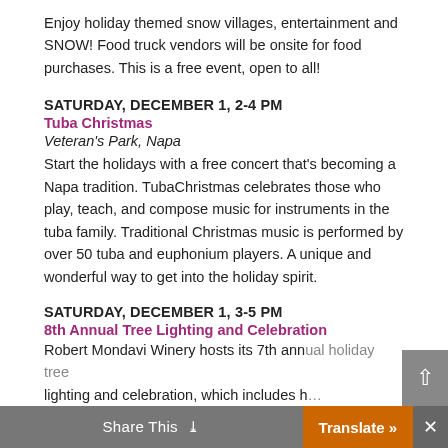Enjoy holiday themed snow villages, entertainment and SNOW! Food truck vendors will be onsite for food purchases. This is a free event, open to all!
SATURDAY, DECEMBER 1, 2-4 PM
Tuba Christmas
Veteran's Park, Napa
Start the holidays with a free concert that's becoming a Napa tradition. TubaChristmas celebrates those who play, teach, and compose music for instruments in the tuba family. Traditional Christmas music is performed by over 50 tuba and euphonium players. A unique and wonderful way to get into the holiday spirit.
SATURDAY, DECEMBER 1, 3-5 PM
8th Annual Tree Lighting and Celebration
Robert Mondavi Winery, Oakville
Robert Mondavi Winery hosts its 7th annual holiday tree lighting and celebration, which includes h…